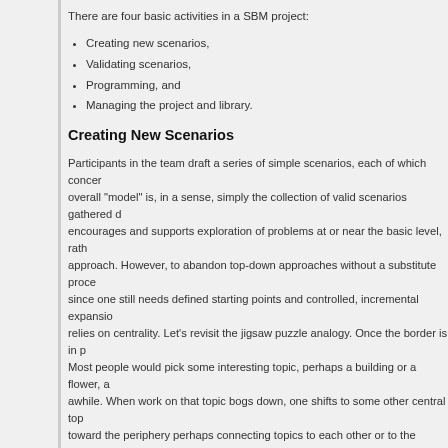There are four basic activities in a SBM project:
Creating new scenarios,
Validating scenarios,
Programming, and
Managing the project and library.
Creating New Scenarios
Participants in the team draft a series of simple scenarios, each of which concerns the overall "model" is, in a sense, simply the collection of valid scenarios gathered during encourages and supports exploration of problems at or near the basic level, rather than approach. However, to abandon top-down approaches without a substitute process since one still needs defined starting points and controlled, incremental expansion relies on centrality. Let's revisit the jigsaw puzzle analogy. Once the border is in place. Most people would pick some interesting topic, perhaps a building or a flower, and work awhile. When work on that topic bogs down, one shifts to some other central topic toward the periphery perhaps connecting topics to each other or to the border. Finally, but blue sky, the final, hard work begins.
This so-called center-periphery strategy is precisely the exploratory process used. It is a natural process that it doesn't need to be formally taught; you already use it everyday. When people are asked to work in other ways, such as top-down, they end up using it anyway and make it look otherwise. SBM merely provides an environment in which it is acceptable to run entire projects this way.